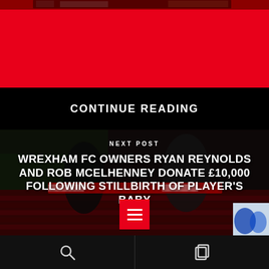[Figure (photo): Top portion of a cropped sports photo with red/dark tones]
CONTINUE READING
NEXT POST
WREXHAM FC OWNERS RYAN REYNOLDS AND ROB MCELHENNEY DONATE £10,000 FOLLOWING STILLBIRTH OF PLAYER'S BABY
[Figure (photo): Background photo of two men holding a Wrexham FC scarf in a stadium with red seats, dark overlay]